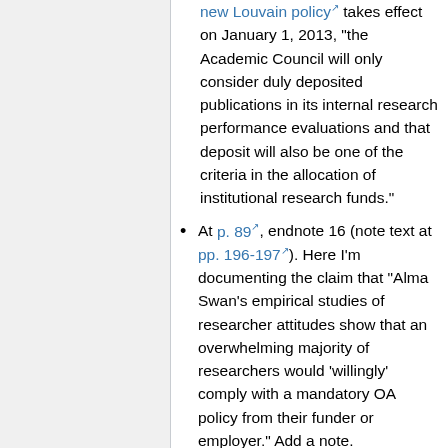new Louvain policy takes effect on January 1, 2013, "the Academic Council will only consider duly deposited publications in its internal research performance evaluations and that deposit will also be one of the criteria in the allocation of institutional research funds."
At p. 89, endnote 16 (note text at pp. 196-197). Here I'm documenting the claim that "Alma Swan's empirical studies of researcher attitudes show that an overwhelming majority of researchers would 'willingly' comply with a mandatory OA policy from their funder or employer." Add a note.
A May 2011 survey from the